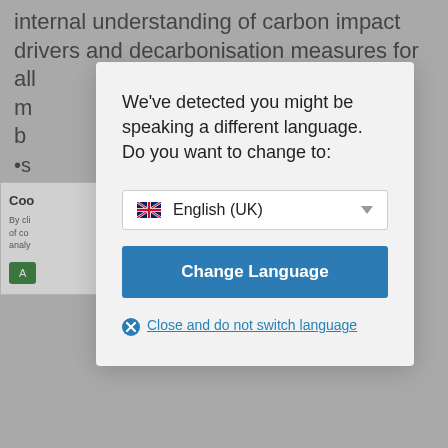internal understanding of carbon impact drivers and decarbonisation measures for all m... r b... •s...
Coo... By cli... of co... analy... A... ×
We've detected you might be speaking a different language. Do you want to change to:
English (UK)
Change Language
Close and do not switch language